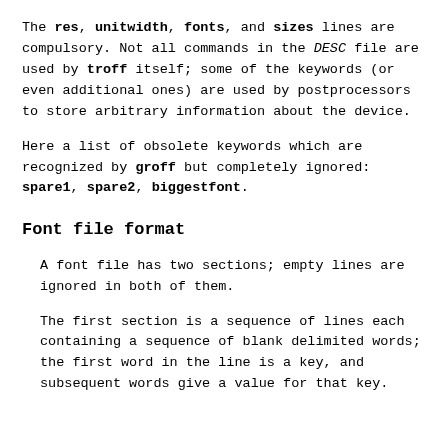The res, unitwidth, fonts, and sizes lines are compulsory. Not all commands in the DESC file are used by troff itself; some of the keywords (or even additional ones) are used by postprocessors to store arbitrary information about the device.
Here a list of obsolete keywords which are recognized by groff but completely ignored: spare1, spare2, biggestfont.
Font file format
A font file has two sections; empty lines are ignored in both of them.
The first section is a sequence of lines each containing a sequence of blank delimited words; the first word in the line is a key, and subsequent words give a value for that key.